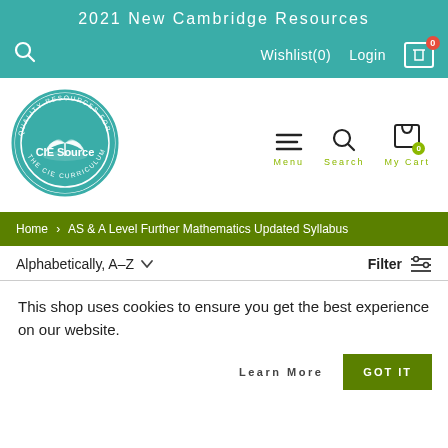2021 New Cambridge Resources
[Figure (logo): CIE Source logo — circular teal badge with open book, text 'QUALITY RESOURCES FOR THE CIE CURRICULUM' and 'CIE Source']
Home > AS & A Level Further Mathematics Updated Syllabus
Alphabetically, A-Z   Filter
This shop uses cookies to ensure you get the best experience on our website.
Learn More   GOT IT